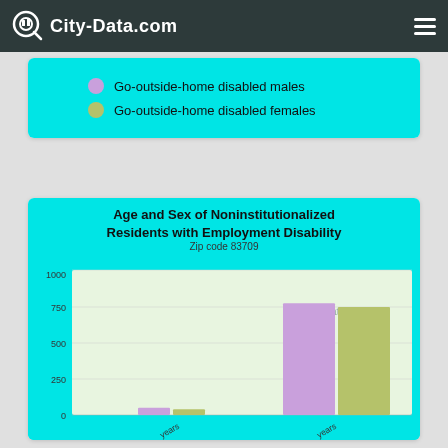City-Data.com
[Figure (bar-chart): Legend showing Go-outside-home disabled males (purple) and Go-outside-home disabled females (yellow-green)]
[Figure (grouped-bar-chart): Age and Sex of Noninstitutionalized Residents with Employment Disability]